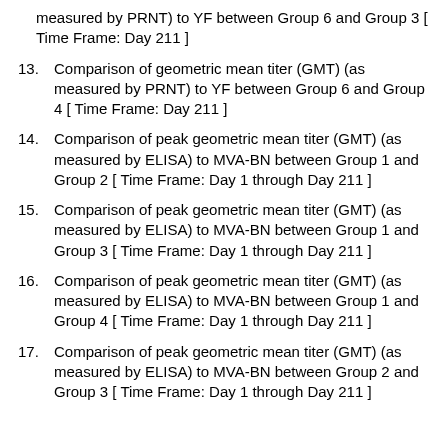measured by PRNT) to YF between Group 6 and Group 3 [ Time Frame: Day 211 ]
13. Comparison of geometric mean titer (GMT) (as measured by PRNT) to YF between Group 6 and Group 4 [ Time Frame: Day 211 ]
14. Comparison of peak geometric mean titer (GMT) (as measured by ELISA) to MVA-BN between Group 1 and Group 2 [ Time Frame: Day 1 through Day 211 ]
15. Comparison of peak geometric mean titer (GMT) (as measured by ELISA) to MVA-BN between Group 1 and Group 3 [ Time Frame: Day 1 through Day 211 ]
16. Comparison of peak geometric mean titer (GMT) (as measured by ELISA) to MVA-BN between Group 1 and Group 4 [ Time Frame: Day 1 through Day 211 ]
17. Comparison of peak geometric mean titer (GMT) (as measured by ELISA) to MVA-BN between Group 2 and Group 3 [ Time Frame: Day 1 through Day 211 ]